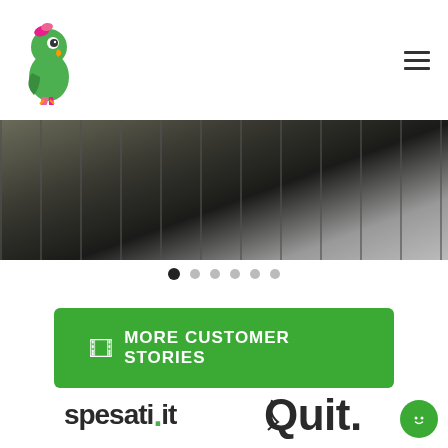Parrot app logo and navigation menu
[Figure (photo): Blurred dark photo of a hair salon or shop interior with shelves and a person with blonde hair]
[Figure (other): Carousel dot navigation: 6 dots, first one filled/active]
MORE CUSTOMER STORIES
[Figure (logo): spesati.it logo in dark gray bold text]
[Figure (logo): Quit logo in dark gray bold text with stylized Q]